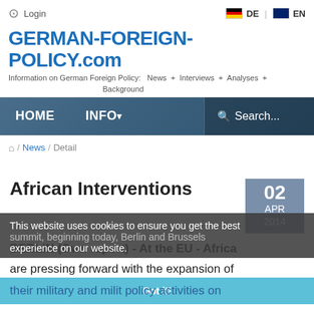Login | DE | EN
GERMAN-FOREIGN-POLICY.com
Information on German Foreign Policy: News + Interviews + Analyses + Background
[Figure (screenshot): Navigation bar with HOME and INFO menu items and Search field over a blue-tinted building background]
Home / News / Detail
African Interventions
02 APR 2014
BERLIN (Own report) - At the EU - Africa summit, beginning today, Berlin and Brussels are pressing forward with the expansion of their military and military policy activities on the African continent. Alongside resolutions
This website uses cookies to ensure you get the best experience on our website.
Got it!